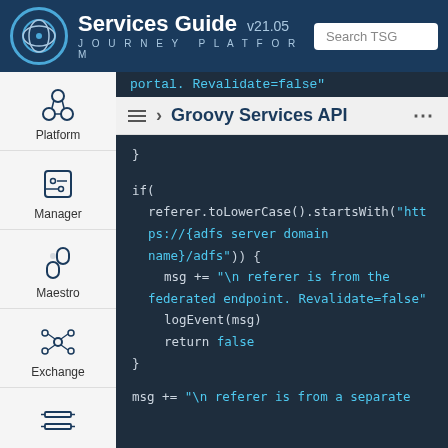Services Guide v21.05 | JOURNEY PLATFORM | Search TSG
[Figure (screenshot): Navigation sidebar with Platform, Manager, Maestro, Exchange icons]
› Groovy Services API
[Figure (screenshot): Groovy code block showing if statement with referer.toLowerCase().startsWith conditions, msg assignment, logEvent and return false statements]